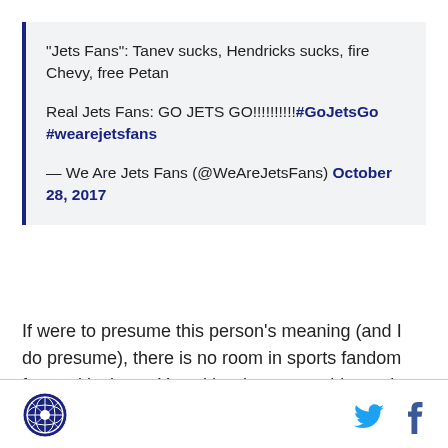"Jets Fans": Tanev sucks, Hendricks sucks, fire Chevy, free Petan

Real Jets Fans: GO JETS GO!!!!!!!!#GoJetsGo #wearejetsfans

— We Are Jets Fans (@WeAreJetsFans) October 28, 2017
If were to presume this person's meaning (and I do presume), there is no room in sports fandom for a critical eye. You either love everything or love nothing about a team. If you're like me, this stance doesn't sit